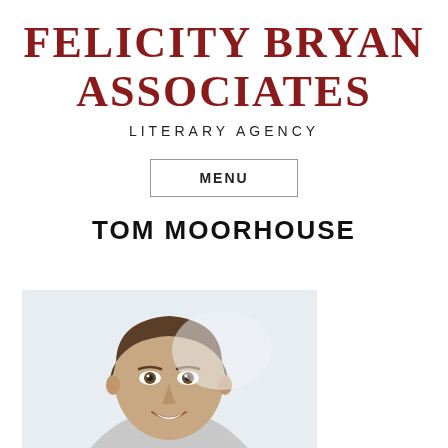FELICITY BRYAN ASSOCIATES
LITERARY AGENCY
MENU
TOM MOORHOUSE
[Figure (photo): Headshot photograph of Tom Moorhouse, a smiling man with short brown hair, against a light background]